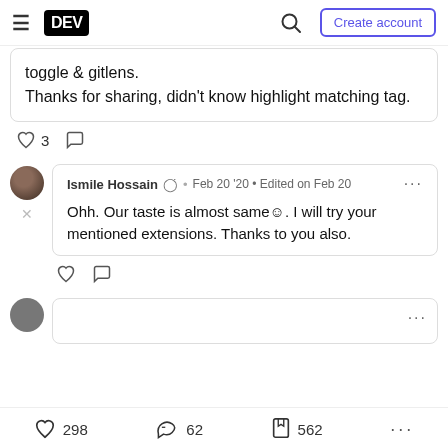DEV — Create account
toggle & gitlens.
Thanks for sharing, didn't know highlight matching tag.
♡ 3  ○
Ismile Hossain • Feb 20 '20 • Edited on Feb 20
Ohh. Our taste is almost same☺. I will try your mentioned extensions. Thanks to you also.
♡  ○
♡ 298   62   562  ...